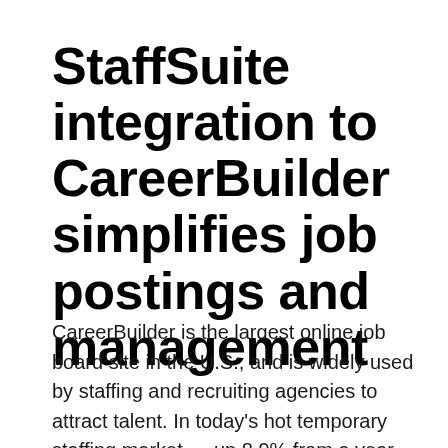StaffSuite integration to CareerBuilder simplifies job postings and management
CareerBuilder is the largest online job board site in the U.S., and is widely used by staffing and recruiting agencies to attract talent. In today's hot temporary staffing market — up 8.9% from a year ago according to data from the U.S. Bureau of Labor Statistics — staffing firms need an efficient means to distribute job postings to top job sites. By integration...